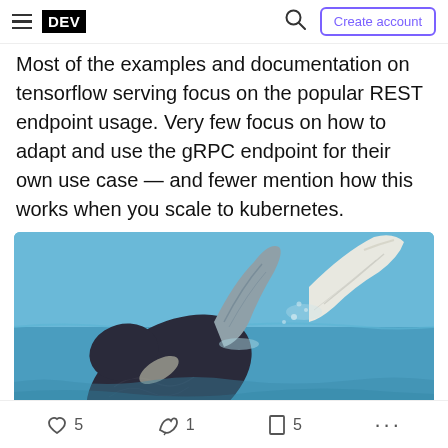DEV | Create account
Most of the examples and documentation on tensorflow serving focus on the popular REST endpoint usage. Very few focus on how to adapt and use the gRPC endpoint for their own use case — and fewer mention how this works when you scale to kubernetes.
[Figure (photo): A humpback whale breaching the ocean surface, showing its dark body and white pectoral fins against a blue sky and ocean background.]
♡ 5   1   ☐ 5   ...